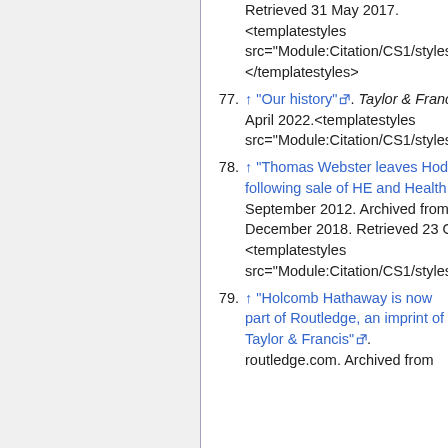Retrieved 31 May 2017. <templatestyles src="Module:Citation/CS1/styles.css"></templatestyles>
77. ↑ "Our history". Taylor & Francis. Retrieved 11 April 2022.<templatestyles src="Module:Citation/CS1/styles.css"></templatestyles>
78. ↑ "Thomas Webster leaves Hodder Education following sale of HE and Health Sciences lists". 2 September 2012. Archived from the original on 15 December 2018. Retrieved 23 October 2015. <templatestyles src="Module:Citation/CS1/styles.css"></templatestyles>
79. ↑ "Holcomb Hathaway is now part of Routledge, an imprint of Taylor & Francis". routledge.com. Archived from